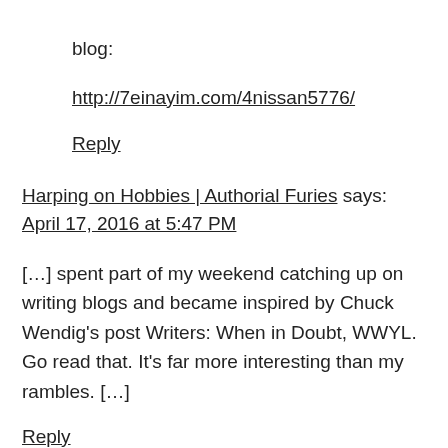blog:
http://7einayim.com/4nissan5776/
Reply
Harping on Hobbies | Authorial Furies says:
April 17, 2016 at 5:47 PM
[…] spent part of my weekend catching up on writing blogs and became inspired by Chuck Wendig's post Writers: When in Doubt, WWYL. Go read that. It's far more interesting than my rambles. […]
Reply
Writing Links…4/18/16 – Where Worlds Collide says: